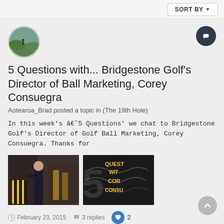SORT BY
[Figure (photo): User avatar showing a golf course landscape with a small figure]
5 Questions with... Bridgestone Golf's Director of Ball Marketing, Corey Consuegra
Aotearoa_Brad posted a topic in (The 19th Hole)
In this week's â€˜5 Questions' we chat to Bridgestone Golf's Director of Golf Ball Marketing, Corey Consuegra. Thanks for
[Figure (photo): Two thumbnail images: a man with golf equipment and a graphic reading 5 QUESTIONS WITH COREY CONSUEGRA]
February 23, 2015   3 replies   2
5 Questions   Interview   (and 2 more)